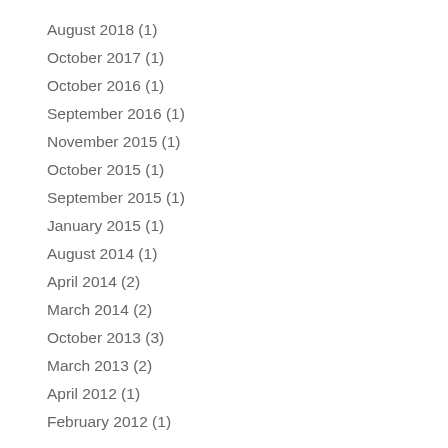August 2018 (1)
October 2017 (1)
October 2016 (1)
September 2016 (1)
November 2015 (1)
October 2015 (1)
September 2015 (1)
January 2015 (1)
August 2014 (1)
April 2014 (2)
March 2014 (2)
October 2013 (3)
March 2013 (2)
April 2012 (1)
February 2012 (1)